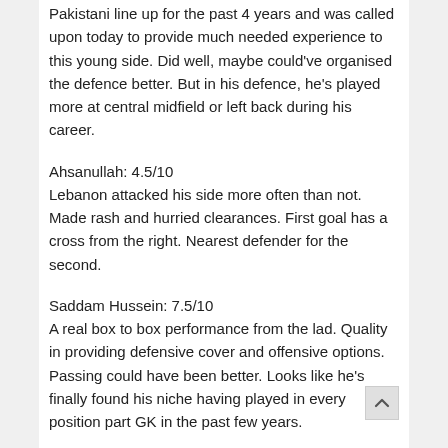Pakistani line up for the past 4 years and was called upon today to provide much needed experience to this young side. Did well, maybe could've organised the defence better. But in his defence, he's played more at central midfield or left back during his career.
Ahsanullah: 4.5/10
Lebanon attacked his side more often than not. Made rash and hurried clearances. First goal has a cross from the right. Nearest defender for the second.
Saddam Hussein: 7.5/10
A real box to box performance from the lad. Quality in providing defensive cover and offensive options. Passing could have been better. Looks like he's finally found his niche having played in every position part GK in the past few years.
M Riaz: 5/10